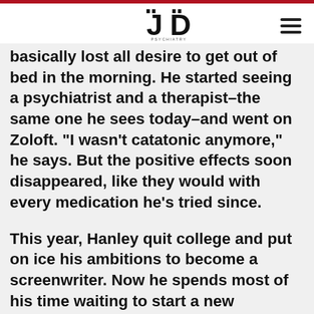JD Psychiatry
basically lost all desire to get out of bed in the morning. He started seeing a psychiatrist and a therapist–the same one he sees today–and went on Zoloft. “I wasn’t catatonic anymore,” he says. But the positive effects soon disappeared, like they would with every medication he’s tried since.
This year, Hanley quit college and put on ice his ambitions to become a screenwriter. Now he spends most of his time waiting to start a new treatment, trying that new treatment